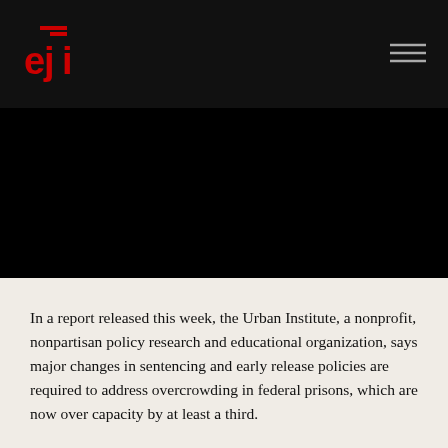EJI
[Figure (photo): Large black image area below the EJI header navigation bar]
In a report released this week, the Urban Institute, a nonprofit, nonpartisan policy research and educational organization, says major changes in sentencing and early release policies are required to address overcrowding in federal prisons, which are now over capacity by at least a third.
Mass incarceration has skyrocketed nationwide in